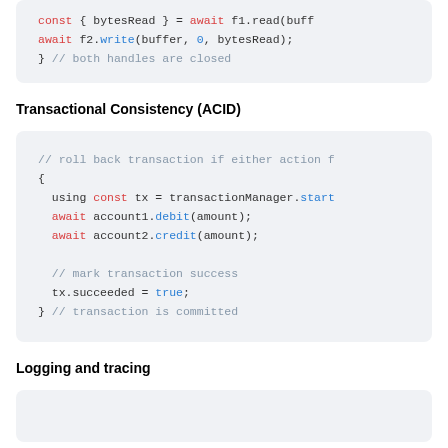[Figure (screenshot): Code block showing: const { bytesRead } = await f1.read(buff... / await f2.write(buffer, 0, bytesRead); / } // both handles are closed]
Transactional Consistency (ACID)
[Figure (screenshot): Code block showing transactional ACID example: // roll back transaction if either action f / { / using const tx = transactionManager.start... / await account1.debit(amount); / await account2.credit(amount); / // mark transaction success / tx.succeeded = true; / } // transaction is committed]
Logging and tracing
[Figure (screenshot): Code block (partially visible at bottom of page)]